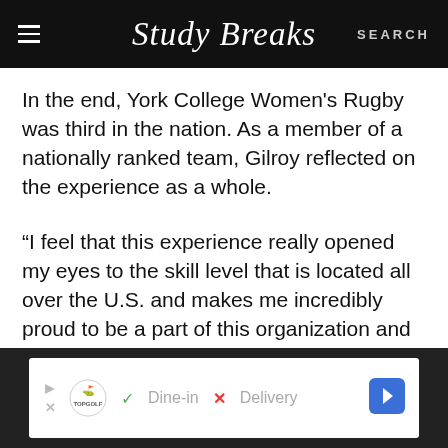Study Breaks
In the end, York College Women's Rugby was third in the nation. As a member of a nationally ranked team, Gilroy reflected on the experience as a whole.
“I feel that this experience really opened my eyes to the skill level that is located all over the U.S. and makes me incredibly proud to be a part of this organization and movement for women in rugby,” she says. “It is so crazy to see how talented some girls are! Although during the games you are striving to win and moments
[Figure (other): Topgolf advertisement banner showing Dine-in and Delivery options with navigation arrow]